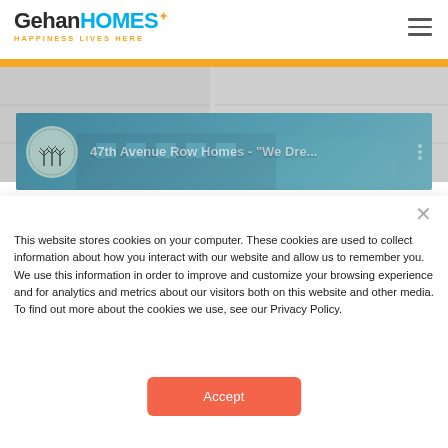Gehan HOMES — HAPPINESS LIVES HERE
[Figure (screenshot): Video thumbnail strip showing '47th Avenue Row Homes - "We Dre...' with tree logo circle and three vertical dots menu, over a teal/blue background with building imagery]
This website stores cookies on your computer. These cookies are used to collect information about how you interact with our website and allow us to remember you. We use this information in order to improve and customize your browsing experience and for analytics and metrics about our visitors both on this website and other media. To find out more about the cookies we use, see our Privacy Policy.
Accept